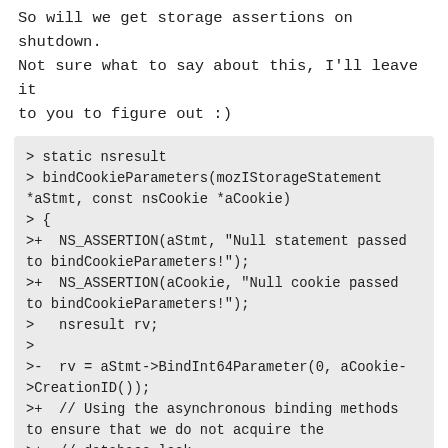So will we get storage assertions on shutdown. Not sure what to say about this, I'll leave it to you to figure out :)
> static nsresult
> bindCookieParameters(mozIStorageStatement *aStmt, const nsCookie *aCookie)
> {
>+  NS_ASSERTION(aStmt, "Null statement passed to bindCookieParameters!");
>+  NS_ASSERTION(aCookie, "Null cookie passed to bindCookieParameters!");
>   nsresult rv;
>  
>-  rv = aStmt->BindInt64Parameter(0, aCookie->CreationID());
>+  // Using the asynchronous binding methods to ensure that we do not acquire the
>+  // database lock.